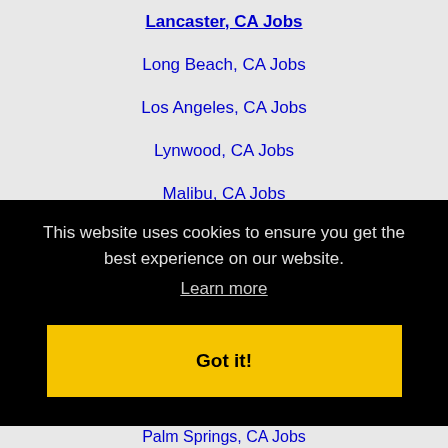Lancaster, CA Jobs
Long Beach, CA Jobs
Los Angeles, CA Jobs
Lynwood, CA Jobs
Malibu, CA Jobs
Mission Viejo, CA Jobs
Montebello, CA Jobs
Monterey Park, CA Jobs
Moreno Valley, CA Jobs
This website uses cookies to ensure you get the best experience on our website.
Learn more
Got it!
Palm Springs, CA Jobs